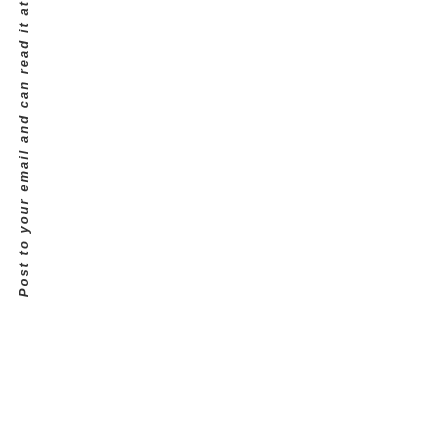Post to your email and can read it at